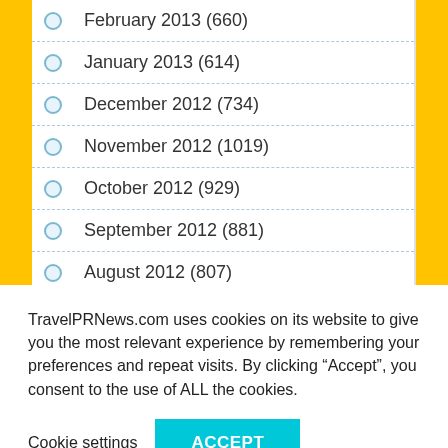February 2013 (660)
January 2013 (614)
December 2012 (734)
November 2012 (1019)
October 2012 (929)
September 2012 (881)
August 2012 (807)
July 2012 (376)
TravelPRNews.com uses cookies on its website to give you the most relevant experience by remembering your preferences and repeat visits. By clicking “Accept”, you consent to the use of ALL the cookies.
Cookie settings  ACCEPT